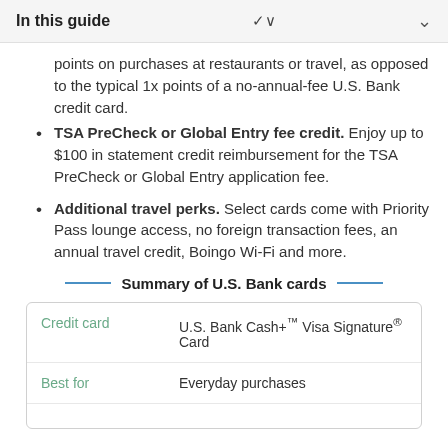In this guide
points on purchases at restaurants or travel, as opposed to the typical 1x points of a no-annual-fee U.S. Bank credit card.
TSA PreCheck or Global Entry fee credit. Enjoy up to $100 in statement credit reimbursement for the TSA PreCheck or Global Entry application fee.
Additional travel perks. Select cards come with Priority Pass lounge access, no foreign transaction fees, an annual travel credit, Boingo Wi-Fi and more.
Summary of U.S. Bank cards
| Credit card | Best for |
| --- | --- |
| U.S. Bank Cash+™ Visa Signature® Card | Everyday purchases |